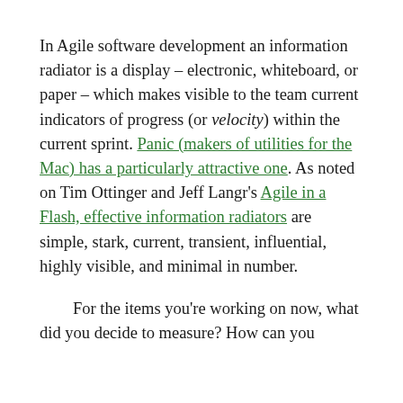In Agile software development an information radiator is a display – electronic, whiteboard, or paper – which makes visible to the team current indicators of progress (or velocity) within the current sprint. Panic (makers of utilities for the Mac) has a particularly attractive one. As noted on Tim Ottinger and Jeff Langr's Agile in a Flash, effective information radiators are simple, stark, current, transient, influential, highly visible, and minimal in number.
For the items you're working on now, what did you decide to measure? How can you